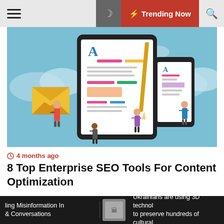☰  🌙  ⚡ Trending Now  🔍
[Figure (illustration): Digital content creation illustration showing a tablet with a document, smartphone, email envelope, pencil, and small cartoon people, on a teal/blue background]
4 months ago
8 Top Enterprise SEO Tools For Content Optimization
[Figure (infographic): SEO ranking infographic with teal/green background showing '1st' and '2nd' position bars, question marks, bar charts, and decorative elements]
ling Misinformation In & Conversations  |  Ukrainians are using 3D techno to preserve hundreds of cultural